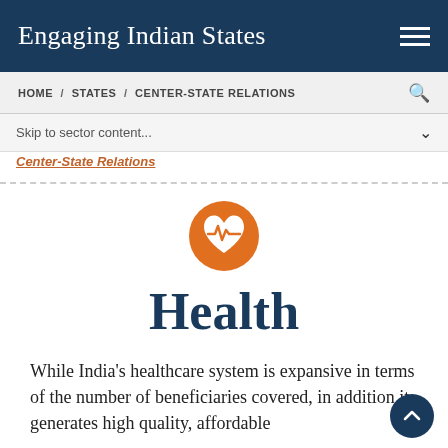Engaging Indian States
HOME / STATES / CENTER-STATE RELATIONS
Skip to sector content...
Center-State Relations
[Figure (logo): Orange circular icon with a white heart and heartbeat/pulse line inside]
Health
While India's healthcare system is expansive in terms of the number of beneficiaries covered, in addition it generates high quality, affordable...